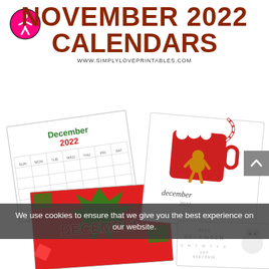[Figure (logo): Pink circle accessibility icon with human figure]
NOVEMBER 2022 CALENDARS
WWW.SIMPLYLOVEPRINTABLES.COM
[Figure (photo): Multiple December 2022 calendar printable designs shown as overlapping cards with Christmas/holiday themes including a red mug with gingerbread man, a bold red-green DECEMBER design, a polar bear design, and a cursive December 2022 calendar grid]
We use cookies to ensure that we give you the best experience on our website.